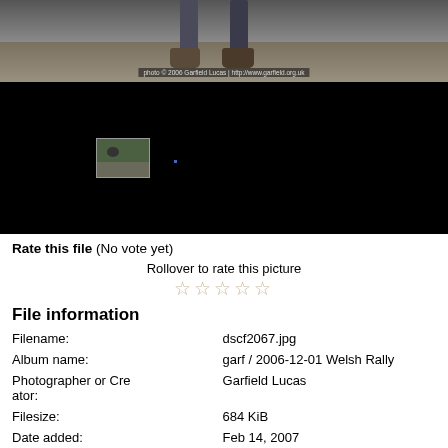[Figure (photo): Partial photo showing legs and feet of person walking on gravel/dirt path, with photo credit overlay at bottom]
[Figure (photo): Black background with small thumbnail image of outdoor scene on left and a small blue dot to the right]
Rate this file (No vote yet)
Rollover to rate this picture
★★★★★
File information
| Field | Value |
| --- | --- |
| Filename: | dscf2067.jpg |
| Album name: | garf / 2006-12-01 Welsh Rally |
| Photographer or Creator: | Garfield Lucas |
| Filesize: | 684 KiB |
| Date added: | Feb 14, 2007 |
| Dimensions: | 1000 x 1000 pixels |